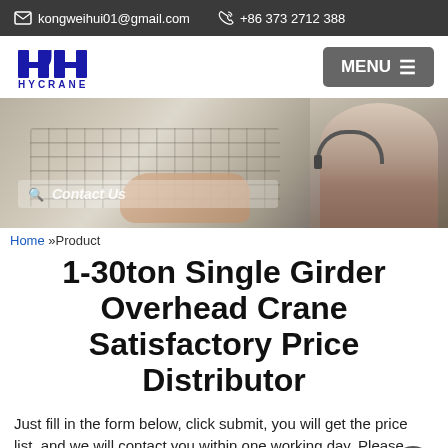kongweihui01@gmail.com   +86 373 2712 388
[Figure (logo): HYCRANE logo with stylized H with crane hook icon in blue]
MENU
[Figure (photo): Website hero banner showing hands on laptop keyboard with Contact Us search overlay and 24/7 Online chat widget with customer service representative photo]
Home »Product
1-30ton Single Girder Overhead Crane Satisfactory Price Distributor
Just fill in the form below, click submit, you will get the price list, and we will contact you within one working day. Please also feel free to